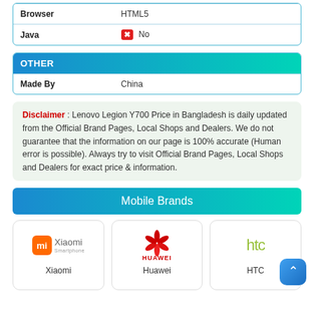| Browser | Java |
| --- | --- |
| HTML5 |
| No |
OTHER
| Made By |
| --- |
| China |
Disclaimer : Lenovo Legion Y700 Price in Bangladesh is daily updated from the Official Brand Pages, Local Shops and Dealers. We do not guarantee that the information on our page is 100% accurate (Human error is possible). Always try to visit Official Brand Pages, Local Shops and Dealers for exact price & information.
Mobile Brands
[Figure (logo): Xiaomi brand logo with orange MI box icon]
[Figure (logo): Huawei brand logo red flower/petal icon]
[Figure (logo): HTC brand logo in green]